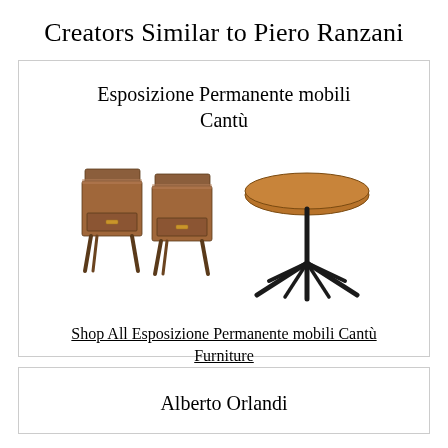Creators Similar to Piero Ranzani
Esposizione Permanente mobili Cantù
[Figure (photo): Two wooden mid-century nightstands and a round wooden table with black metal star-base legs]
Shop All Esposizione Permanente mobili Cantù Furniture
Alberto Orlandi